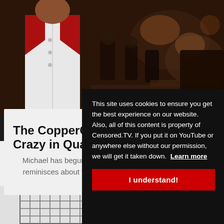[Figure (photo): Top photo showing a person in white shirt with red collar in a crowded dark venue]
May 09th, 2020
The CopperCab Show - Ep 8 - Crazy in Quarantine
Michael has begun a new project creating a movie, he reminisces about the distant past when he could once stand in large
[Figure (photo): Bottom photo showing a shopping cart with blue handle in a store]
This site uses cookies to ensure you get the best experience on our website. Also, all of this content is property of Censored.TV. If you put it on YouTube or anywhere else without our permission, we will get it taken down. Learn more
I understand!